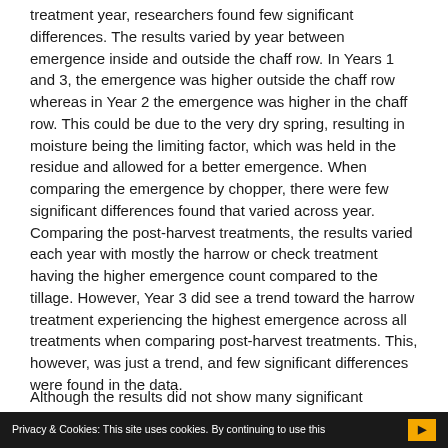treatment year, researchers found few significant differences. The results varied by year between emergence inside and outside the chaff row. In Years 1 and 3, the emergence was higher outside the chaff row whereas in Year 2 the emergence was higher in the chaff row. This could be due to the very dry spring, resulting in moisture being the limiting factor, which was held in the residue and allowed for a better emergence. When comparing the emergence by chopper, there were few significant differences found that varied across year. Comparing the post-harvest treatments, the results varied each year with mostly the harrow or check treatment having the higher emergence count compared to the tillage. However, Year 3 did see a trend toward the harrow treatment experiencing the highest emergence across all treatments when comparing post-harvest treatments. This, however, was just a trend, and few significant differences were found in the data.
Although the results did not show many significant
Privacy & Cookies: This site uses cookies. By continuing to use this